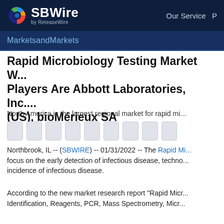SBWire by ReleaseWire — Our Service
MarketsandMarkets
Rapid Microbiology Testing Market W... Players Are Abbott Laboratories, Inc. (US), bioMérieux SA
North America is the largest regional market for rapid mi...
[Figure (other): Row of share/social icon buttons (greyed out placeholders)]
Northbrook, IL -- (SBWIRE) -- 01/31/2022 -- The Rapid Mi... focus on the early detection of infectious disease, techno... incidence of infectious disease.
According to the new market research report "Rapid Micr... Identification, Reagents, PCR, Mass Spectrometry, Micr...